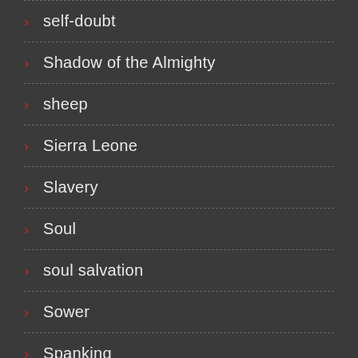self-doubt
Shadow of the Almighty
sheep
Sierra Leone
Slavery
Soul
soul salvation
Sower
Spanking
Speaking in Tongues